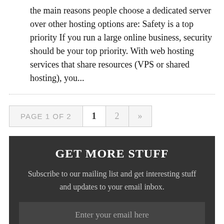the main reasons people choose a dedicated server over other hosting options are: Safety is a top priority If you run a large online business, security should be your top priority. With web hosting services that share resources (VPS or shared hosting), you...
PAGE 1 OF 2  1  2  »
GET MORE STUFF
Subscribe to our mailing list and get interesting stuff and updates to your email inbox.
Enter your email here